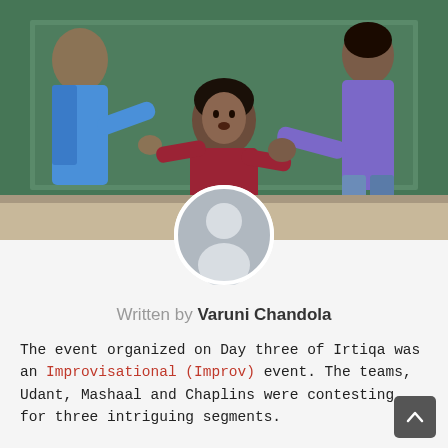[Figure (photo): Three young men in a classroom setting, one seated on the floor in a red shirt looking up, being held by two others standing — one in blue on the left, one in purple on the right — in front of a green chalkboard.]
[Figure (illustration): Circular grey avatar/profile placeholder icon with a generic person silhouette.]
Written by Varuni Chandola
The event organized on Day three of Irtiqa was an Improvisational (Improv) event. The teams, Udant, Mashaal and Chaplins were contesting for three intriguing segments.
The event kick started with AD-MAD. Teams were asked to select five membe